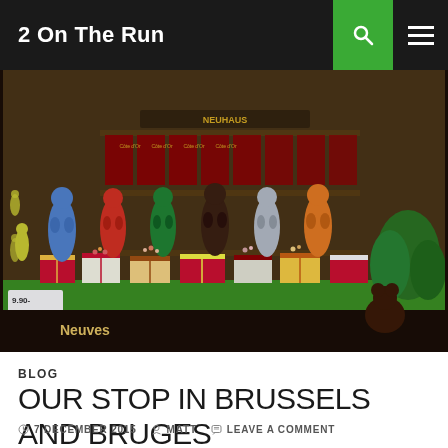2 On The Run
[Figure (photo): A shop window display in Brussels/Bruges showing multiple colorful Manneken Pis statuettes (blue, red, green, black, silver, orange) surrounded by chocolate gift boxes and candy, with a chocolate shop storefront in the background.]
BLOG
OUR STOP IN BRUSSELS AND BRUGES
7 DECEMBER 2015  MATT  LEAVE A COMMENT